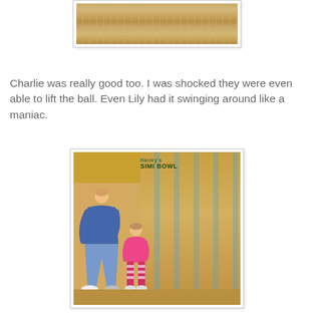[Figure (photo): Top portion of a bowling alley lane showing the wooden floor with characteristic stripes, cropped photo with white border.]
Charlie was really good too. I was shocked they were even able to lift the ball. Even Lily had it swinging around like a maniac.
[Figure (photo): Photo of an adult woman bending over helping a small child in a pink outfit bowl at Simi Bowl bowling alley. The Simi Bowl sign is visible on the wall behind them.]